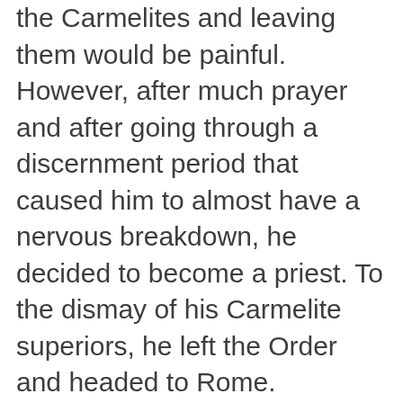the Carmelites and leaving them would be painful. However, after much prayer and after going through a discernment period that caused him to almost have a nervous breakdown, he decided to become a priest. To the dismay of his Carmelite superiors, he left the Order and headed to Rome.

On June 29, 1962, Enzo Boschetti was ordained to the priesthood by Carlo Allorio, the Bishop of Pavia. His first assignment was as